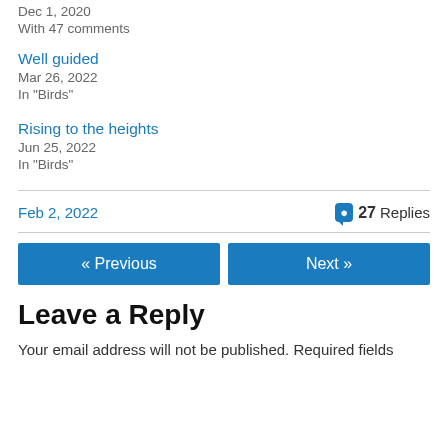Dec 1, 2020
With 47 comments
Well guided
Mar 26, 2022
In "Birds"
Rising to the heights
Jun 25, 2022
In "Birds"
Feb 2, 2022 — 27 Replies
« Previous   Next »
Leave a Reply
Your email address will not be published. Required fields